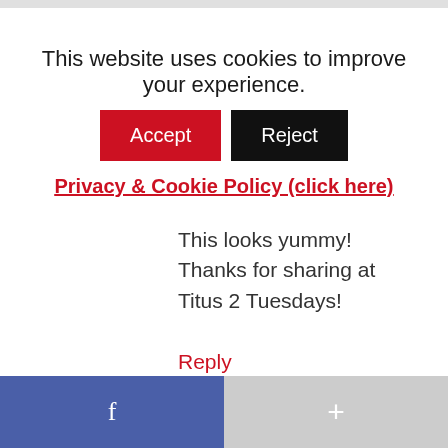This website uses cookies to improve your experience.
Accept | Reject
Privacy & Cookie Policy (click here)
-
June 11, 2013 at 9:18 am
This looks yummy! Thanks for sharing at Titus 2 Tuesdays!
Reply
f
+